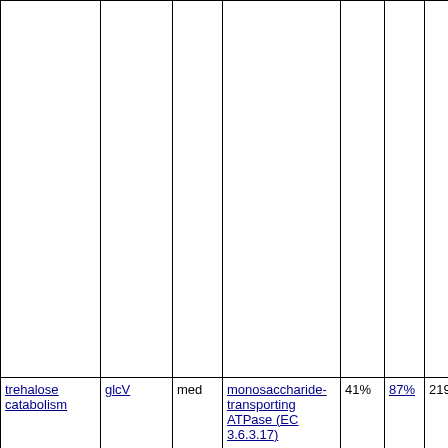|  |  |  |  |  |  |  |  |
| --- | --- | --- | --- | --- | --- | --- | --- |
|  |  |  |  |  |  |  |  |
| trehalose catabolism | glcV | med | monosaccharide-transporting ATPase (EC 3.6.3.17) | 41% | 87% | 219.2 |  |